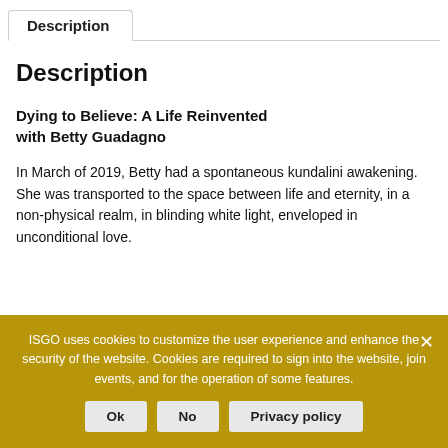Description
Description
Dying to Believe: A Life Reinvented with Betty Guadagno
In March of 2019, Betty had a spontaneous kundalini awakening. She was transported to the space between life and eternity, in a non-physical realm, in blinding white light, enveloped in unconditional love.
ISGO uses cookies to customize the user experience and enhance the security of the website. Cookies are required to sign into the website, join events, and for the operation of some features.